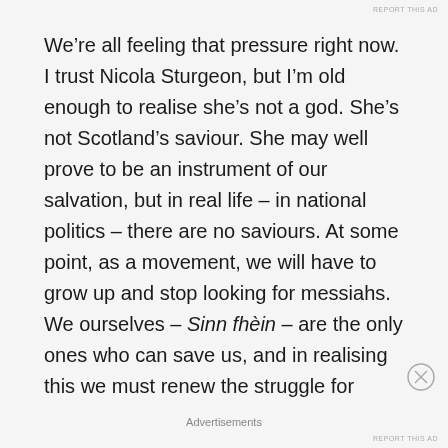REPORT THIS AD
We’re all feeling that pressure right now. I trust Nicola Sturgeon, but I’m old enough to realise she’s not a god. She’s not Scotland’s saviour. She may well prove to be an instrument of our salvation, but in real life – in national politics – there are no saviours. At some point, as a movement, we will have to grow up and stop looking for messiahs. We ourselves – Sinn fhèin – are the only ones who can save us, and in realising this we must renew the struggle for
Advertisements
REPORT THIS AD